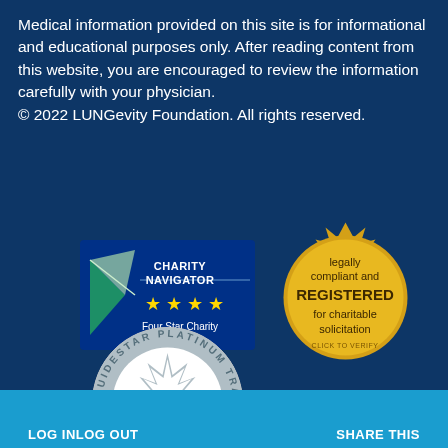Medical information provided on this site is for informational and educational purposes only. After reading content from this website, you are encouraged to review the information carefully with your physician.
© 2022 LUNGevity Foundation. All rights reserved.
[Figure (logo): Charity Navigator Four Star Charity badge with blue background, arrow logo, and gold stars]
[Figure (logo): Gold starburst seal: legally compliant and REGISTERED for charitable solicitation. CLICK TO VERIFY.]
[Figure (logo): GuideStar Platinum Transparency 2021 circular seal with white starburst on grey-blue background]
LOG IN   LOG OUT   SHARE THIS